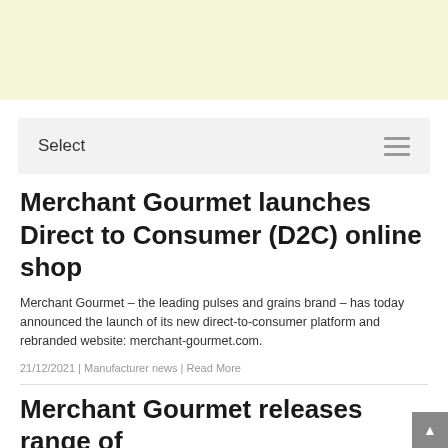[Figure (other): Light yellow advertisement banner at top of page]
Select
Merchant Gourmet launches Direct to Consumer (D2C) online shop
Merchant Gourmet – the leading pulses and grains brand – has today announced the launch of its new direct-to-consumer platform and rebranded website: merchant-gourmet.com.
21/12/2021 | Manufacturer news | Read More
Merchant Gourmet releases range of individually sized (ICF) products